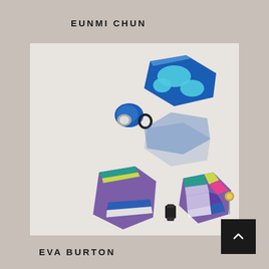EUNMI CHUN
[Figure (photo): Two pairs of geometric earrings: upper pair showing blue/cyan patterned angular shapes connected by black rings; lower pair showing colorful geometric faceted shapes with glitter finish in teal, purple, pink, yellow and green, connected by black hardware.]
EVA BURTON